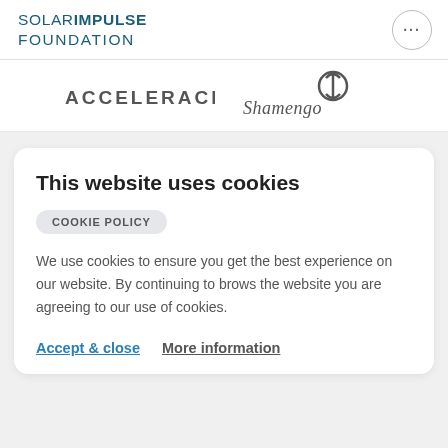SOLAR IMPULSE FOUNDATION
[Figure (logo): Accelerace and Shamengo partner logos]
This website uses cookies
COOKIE POLICY
We use cookies to ensure you get the best experience on our website. By continuing to browse the website you are agreeing to our use of cookies.
Accept & close   More information